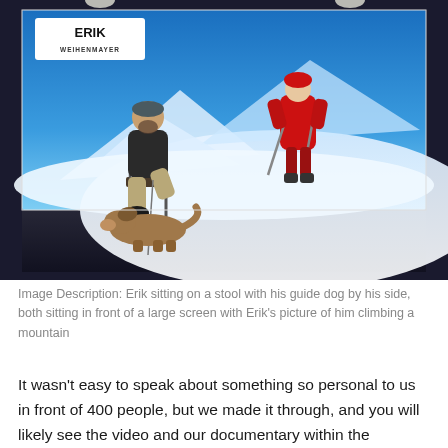[Figure (photo): Erik sitting on a stool on a stage with his guide dog lying by his side, both in front of a large screen showing Erik climbing a mountain in red gear. The screen has 'ERIK WEIHENMAYER' branding in the top left corner.]
Image Description: Erik sitting on a stool with his guide dog by his side, both sitting in front of a large screen with Erik's picture of him climbing a mountain
It wasn't easy to speak about something so personal to us in front of 400 people, but we made it through, and you will likely see the video and our documentary within the